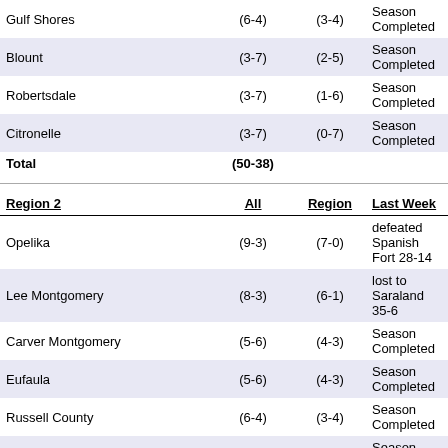|  | All | Region | Last Week |
| --- | --- | --- | --- |
| Gulf Shores | (6-4) | (3-4) | Season Completed |
| Blount | (3-7) | (2-5) | Season Completed |
| Robertsdale | (3-7) | (1-6) | Season Completed |
| Citronelle | (3-7) | (0-7) | Season Completed |
| Total | (50-38) |  |  |
| Region 2 | All | Region | Last Week |
| --- | --- | --- | --- |
| Opelika | (9-3) | (7-0) | defeated Spanish Fort 28-14 |
| Lee Montgomery | (8-3) | (6-1) | lost to Saraland 35-6 |
| Carver Montgomery | (5-6) | (4-3) | Season Completed |
| Eufaula | (5-6) | (4-3) | Season Completed |
| Russell County | (6-4) | (3-4) | Season Completed |
| Valley | (4-5) | (2-5) | Season Completed |
| Park Crossing | (2-8) | (2-5) | Season Completed |
| Sidney Lanier | (2-8) | (0-7) | Season Completed |
| Total | (41-43) |  |  |
| Region 3 | All | Region | Last Week |
| --- | --- | --- | --- |
| Helena | (9-2) | (6-0) | Season Completed |